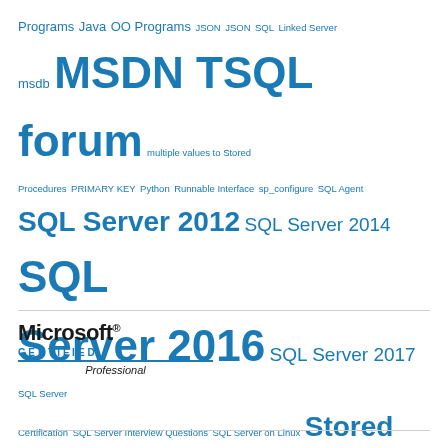Programs Java OO Programs JSON JSON SQL Linked Server msdb MSDN TSQL forum multiple values to Stored Procedures PRIMARY KEY Python Runnable Interface sp_configure SQL Agent SQL Server 2012 SQL Server 2014 SQL Server 2016 SQL Server 2017 SQL Server Certification SQL Server Interview Questions SQL Server on Linux Stored Procedure Temporary Tables TRY-CATCH WordPress Annual Report XML XML SQL
[Figure (logo): Microsoft Certified Professional logo with bold Microsoft wordmark, CERTIFIED in blue spaced capitals, blue underline, and italic Professional text]